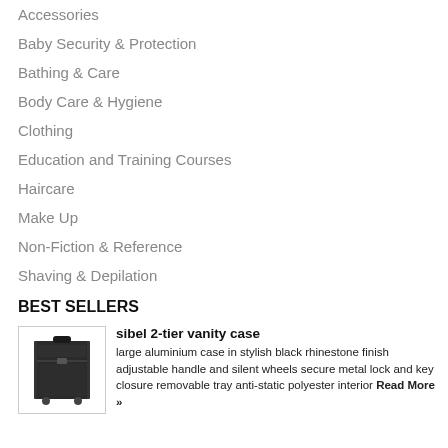Accessories
Baby Security & Protection
Bathing & Care
Body Care & Hygiene
Clothing
Education and Training Courses
Haircare
Make Up
Non-Fiction & Reference
Shaving & Depilation
BEST SELLERS
[Figure (photo): A black 2-tier aluminium vanity case with wheels and handle]
sibel 2-tier vanity case large aluminium case in stylish black rhinestone finish adjustable handle and silent wheels secure metal lock and key closure removable tray anti-static polyester interior Read More »